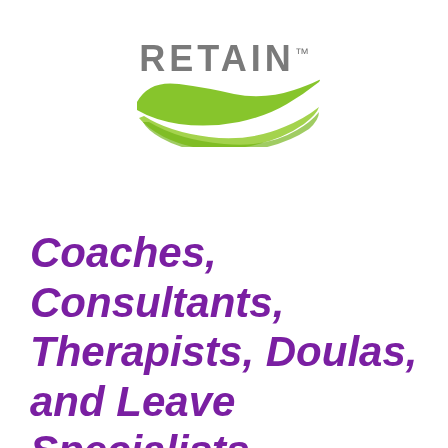[Figure (logo): RETAIN logo with green brush-stroke swoosh beneath gray bold text reading RETAIN with trademark symbol]
Coaches, Consultants, Therapists, Doulas, and Leave Specialists – Are you seeing the